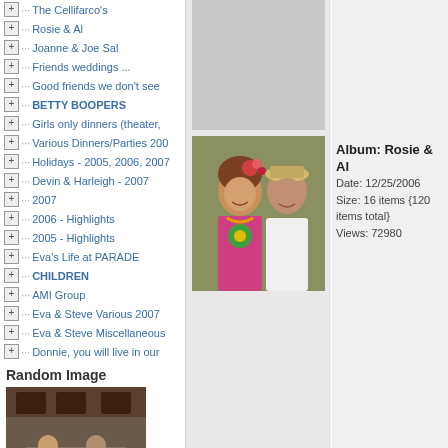The Cellifarco's
Rosie & Al
Joanne & Joe Sal
Friends weddings ...
Good friends we don't see
BETTY BOOPERS
Girls only dinners (theater,
Various Dinners/Parties 200
Holidays - 2005, 2006, 2007
Devin & Harleigh - 2007
2007
2006 - Highlights
2005 - Highlights
Eva's Life at PARADE
CHILDREN
AMI Group
Eva & Steve Various 2007
Eva & Steve Miscellaneous
Donnie, you will live in our
Random Image
[Figure (photo): Two men sitting in a restaurant/bar setting]
[Figure (photo): Gray placeholder photo area at top of middle panel]
[Figure (photo): Photo of a couple - woman in colorful traditional dress and man in white shirt and hat]
Album: Rosie & Al
Date: 12/25/2006
Size: 16 items {120 items total}
Views: 72980